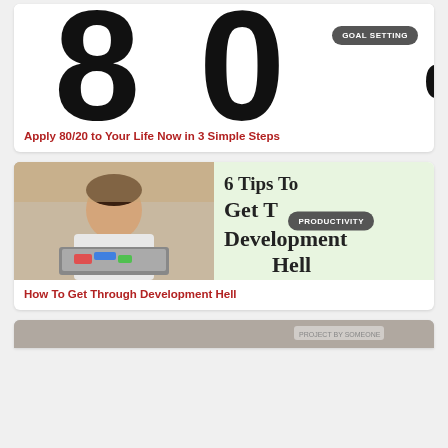[Figure (illustration): Large bold '80' text and partial percent sign on white background, with a dark gray 'GOAL SETTING' badge pill in upper right]
Apply 80/20 to Your Life Now in 3 Simple Steps
[Figure (photo): Split image: left half shows man hunched over laptop with stickers, right half shows text '6 Tips To Get Through Development Hell' on light green background, with 'PRODUCTIVITY' badge in center]
How To Get Through Development Hell
[Figure (photo): Partially visible image at bottom of page, grayscale]